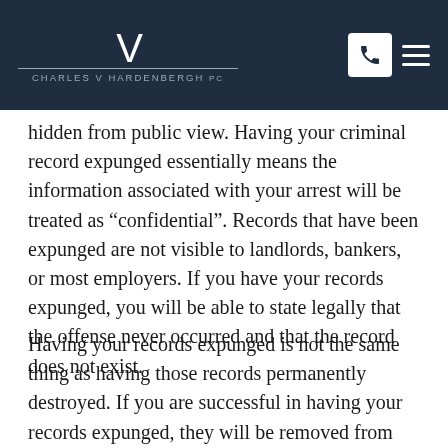Charles V. Hardenbergh PC
hidden from public view. Having your criminal record expunged essentially means the information associated with your arrest will be treated as “confidential”. Records that have been expunged are not visible to landlords, bankers, or most employers. If you have your records expunged, you will be able to state legally that the offense never occurred and that the record does not exist.
Having your records expunged is not the same thing as having those records permanently destroyed. If you are successful in having your records expunged, they will be removed from public view. This means…